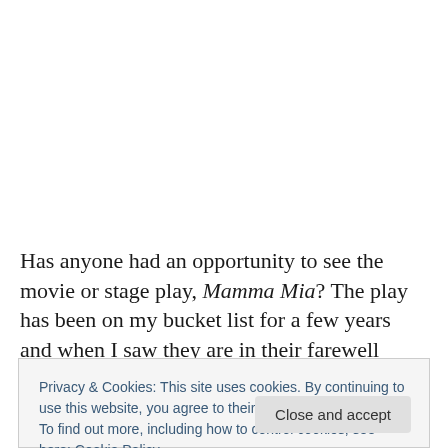Has anyone had an opportunity to see the movie or stage play, Mamma Mia? The play has been on my bucket list for a few years and when I saw they are in their farewell
Privacy & Cookies: This site uses cookies. By continuing to use this website, you agree to their use.
To find out more, including how to control cookies, see here: Cookie Policy